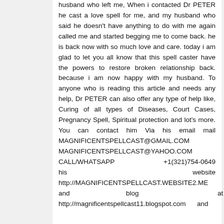husband who left me, When i contacted Dr PETER he cast a love spell for me, and my husband who said he doesn't have anything to do with me again called me and started begging me to come back. he is back now with so much love and care. today i am glad to let you all know that this spell caster have the powers to restore broken relationship back. because i am now happy with my husband. To anyone who is reading this article and needs any help, Dr PETER can also offer any type of help like, Curing of all types of Diseases, Court Cases, Pregnancy Spell, Spiritual protection and lot's more. You can contact him Via his email mail MAGNIFICENTSPELLCAST@GMAIL.COM MAGNIFICENTSPELLCAST@YAHOO.COM CALL/WHATSAPP +1(321)754-0649 his website http://MAGNIFICENTSPELLCAST.WEBSITE2.ME and blog at http://magnificentspellcast11.blogspot.com and